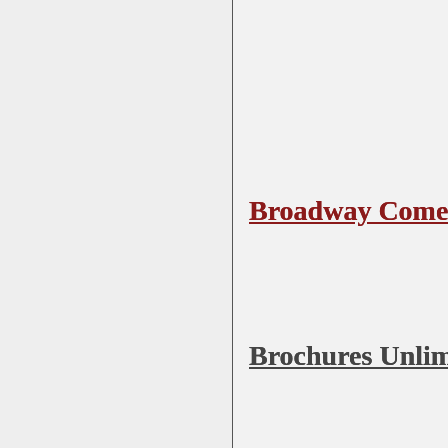Broadway Comedy
Brochures Unlimited
Broderbund Software